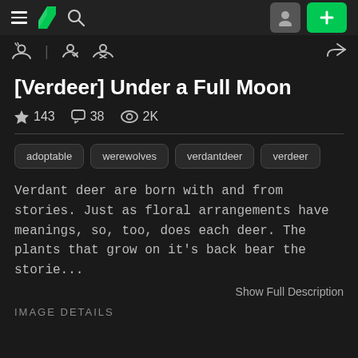DeviantArt navigation bar with hamburger menu, logo, search, avatar, and plus button
[Figure (screenshot): Toolbar with watch, follow, and other action icons]
[Verdeer] Under a Full Moon
143 favorites  38 comments  2K views
adoptable  werewolves  verdantdeer  verdeer
Verdant deer are born with and from stories. Just as floral arrangements have meanings, so, too, does each deer. The plants that grow on it's back bear the storie...
Show Full Description
IMAGE DETAILS